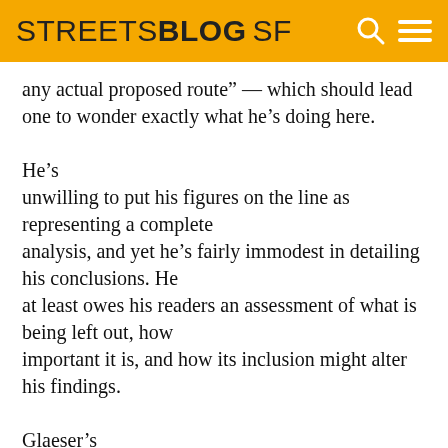STREETSBLOG SF
any actual proposed route" — which should lead one to wonder exactly what he's doing here.

He's unwilling to put his figures on the line as representing a complete analysis, and yet he's fairly immodest in detailing his conclusions. He at least owes his readers an assessment of what is being left out, how important it is, and how its inclusion might alter his findings.

Glaeser's
analysis assumes no population growth — he bases